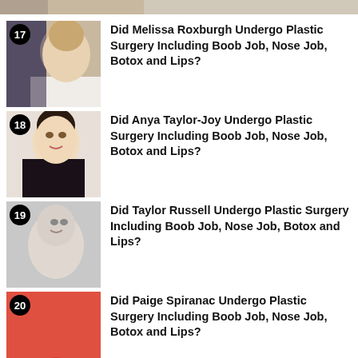[Figure (photo): Partial cropped photo at top of page (item 16 or earlier, cut off)]
Did Melissa Roxburgh Undergo Plastic Surgery Including Boob Job, Nose Job, Botox and Lips?
Did Anya Taylor-Joy Undergo Plastic Surgery Including Boob Job, Nose Job, Botox and Lips?
Did Taylor Russell Undergo Plastic Surgery Including Boob Job, Nose Job, Botox and Lips?
Did Paige Spiranac Undergo Plastic Surgery Including Boob Job, Nose Job, Botox and Lips?